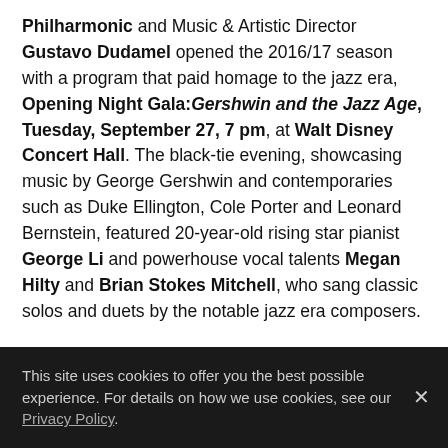Philharmonic and Music & Artistic Director Gustavo Dudamel opened the 2016/17 season with a program that paid homage to the jazz era, Opening Night Gala: Gershwin and the Jazz Age, Tuesday, September 27, 7 pm, at Walt Disney Concert Hall. The black-tie evening, showcasing music by George Gershwin and contemporaries such as Duke Ellington, Cole Porter and Leonard Bernstein, featured 20-year-old rising star pianist George Li and powerhouse vocal talents Megan Hilty and Brian Stokes Mitchell, who sang classic solos and duets by the notable jazz era composers.
Proceeds from the Opening Night Gala: Gershwin and the Jazz Age went to support the Los Angeles Philharmonic's many music education programs, which serve more than 150,000 youths, families and teachers every year.
This site uses cookies to offer you the best possible experience. For details on how we use cookies, see our Privacy Policy.
and VIPs: Rosanna Arquette, Eli and Edythe Broad,